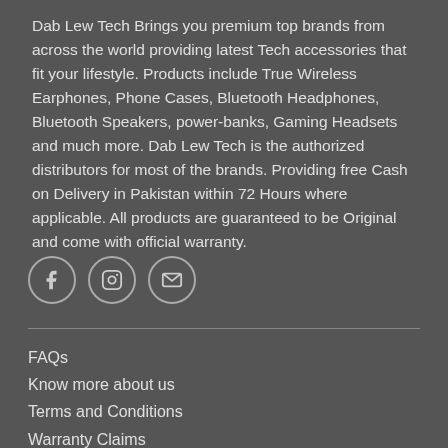Dab Lew Tech Brings you premium top brands from across the world providing latest Tech accessories that fit your lifestyle. Products include True Wireless Earphones, Phone Cases, Bluetooth Headphones, Bluetooth Speakers, power-banks, Gaming Headsets and much more. Dab Lew Tech is the authorized distributors for most of the brands. Providing free Cash on Delivery in Pakistan within 72 Hours where applicable. All products are guaranteed to be Original and come with official warranty.
[Figure (infographic): Three social media icon circles: Facebook (f), Instagram (camera), and Email (envelope)]
FAQs
Know more about us
Terms and Conditions
Warranty Claims
Refund Return Policy